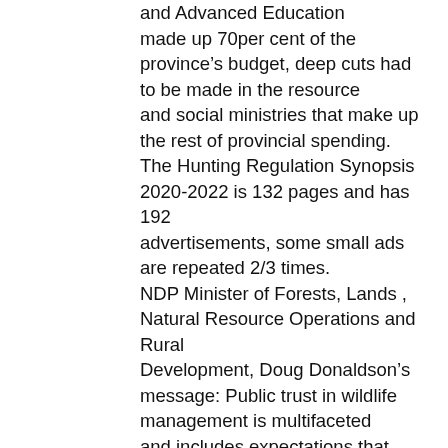and Advanced Education made up 70per cent of the province's budget, deep cuts had to be made in the resource and social ministries that make up the rest of provincial spending. The Hunting Regulation Synopsis 2020-2022 is 132 pages and has 192 advertisements, some small ads are repeated 2/3 times. NDP Minister of Forests, Lands , Natural Resource Operations and Rural Development, Doug Donaldson's message: Public trust in wildlife management is multifaceted and includes expectations that wildlife will be managed sustainably and responsibly. Minister Donaldson's message of sustainable responsible wildlife management is a tired old proclamation ignored by the 1996 Glen Clark